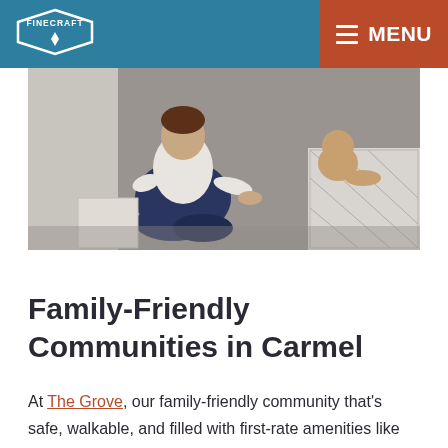FINECRAFT | MENU
[Figure (photo): Photo of a person sitting cross-legged on a grey carpet floor, with a patterned rug visible in the background]
Family-Friendly Communities in Carmel
At The Grove, our family-friendly community that's safe, walkable, and filled with first-rate amenities like 16 acres of wooded nature preserve park, over 80 acres of green space, a family play area, a